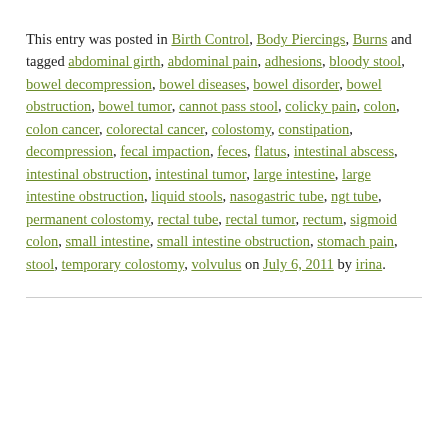This entry was posted in Birth Control, Body Piercings, Burns and tagged abdominal girth, abdominal pain, adhesions, bloody stool, bowel decompression, bowel diseases, bowel disorder, bowel obstruction, bowel tumor, cannot pass stool, colicky pain, colon, colon cancer, colorectal cancer, colostomy, constipation, decompression, fecal impaction, feces, flatus, intestinal abscess, intestinal obstruction, intestinal tumor, large intestine, large intestine obstruction, liquid stools, nasogastric tube, ngt tube, permanent colostomy, rectal tube, rectal tumor, rectum, sigmoid colon, small intestine, small intestine obstruction, stomach pain, stool, temporary colostomy, volvulus on July 6, 2011 by irina.